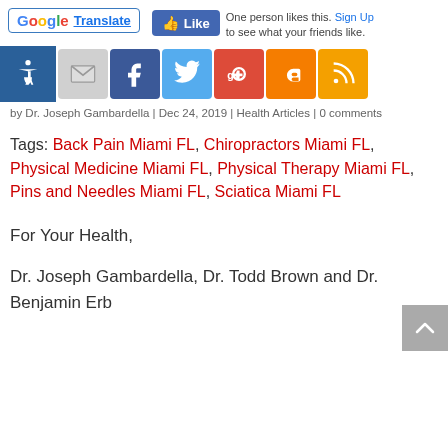[Figure (screenshot): Google Translate button and Facebook Like widget with text 'One person likes this. Sign Up to see what your friends like.']
[Figure (screenshot): Social media icons row: accessibility icon, email, Facebook, Twitter, Google+, Blogger, RSS feed]
by Dr. Joseph Gambardella | Dec 24, 2019 | Health Articles | 0 comments
Tags: Back Pain Miami FL, Chiropractors Miami FL, Physical Medicine Miami FL, Physical Therapy Miami FL, Pins and Needles Miami FL, Sciatica Miami FL
For Your Health,
Dr. Joseph Gambardella, Dr. Todd Brown and Dr. Benjamin Erb